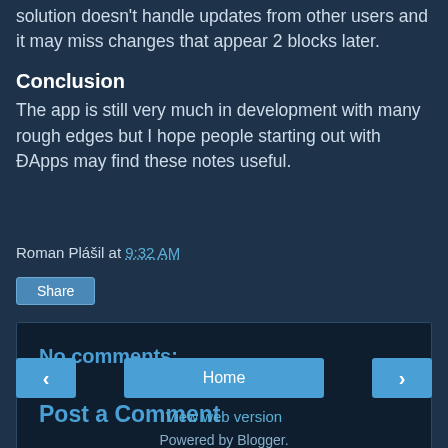solution doesn't handle updates from other users and it may miss changes that appear 2 blocks later.
Conclusion
The app is still very much in development with many rough edges but I hope people starting out with ÐApps may find these notes useful.
Roman Plášil at 9:32 AM
Share
No comments:
Post a Comment
Home
View web version
Powered by Blogger.